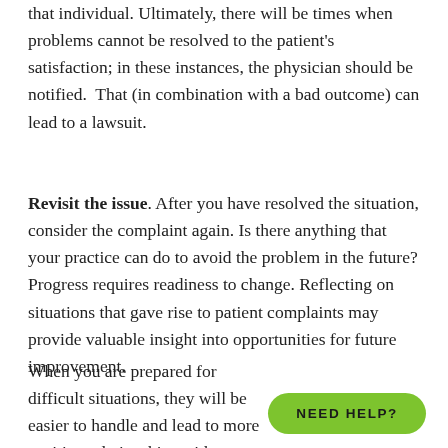that individual. Ultimately, there will be times when problems cannot be resolved to the patient's satisfaction; in these instances, the physician should be notified. That (in combination with a bad outcome) can lead to a lawsuit.
Revisit the issue. After you have resolved the situation, consider the complaint again. Is there anything that your practice can do to avoid the problem in the future? Progress requires readiness to change. Reflecting on situations that gave rise to patient complaints may provide valuable insight into opportunities for future improvement.
When you are prepared for difficult situations, they will be easier to handle and lead to more positive relationships with your patients.